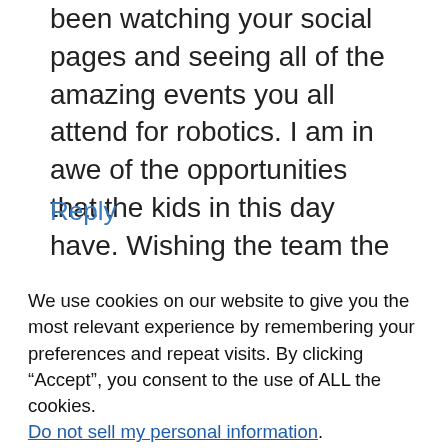been watching your social pages and seeing all of the amazing events you all attend for robotics. I am in awe of the opportunities that the kids in this day have. Wishing the team the best of luck!
Reply
We use cookies on our website to give you the most relevant experience by remembering your preferences and repeat visits. By clicking “Accept”, you consent to the use of ALL the cookies.
Do not sell my personal information.
Settings
Accept